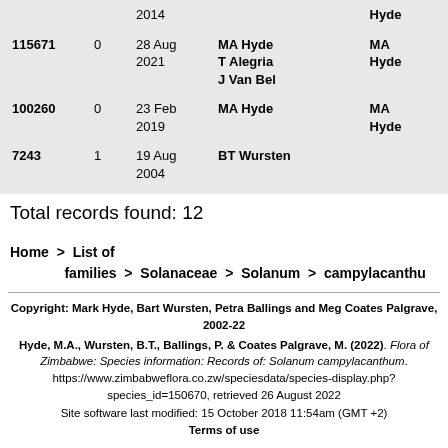| ID | Num | Date | Collectors | Det |
| --- | --- | --- | --- | --- |
|  |  | 2014 |  | Hyde |
| 115671 | 0 | 28 Aug 2021 | MA Hyde T Alegria J Van Bel | MA Hyde |
| 100260 | 0 | 23 Feb 2019 | MA Hyde | MA Hyde |
| 7243 | 1 | 19 Aug 2004 | BT Wursten |  |
Total records found: 12
Home > List of families > Solanaceae > Solanum > campylacanthu
Copyright: Mark Hyde, Bart Wursten, Petra Ballings and Meg Coates Palgrave, 2002-22
Hyde, M.A., Wursten, B.T., Ballings, P. & Coates Palgrave, M. (2022). Flora of Zimbabwe: Species information: Records of: Solanum campylacanthum. https://www.zimbabweflora.co.zw/speciesdata/species-display.php?species_id=150670, retrieved 26 August 2022
Site software last modified: 15 October 2018 11:54am (GMT +2)
Terms of use